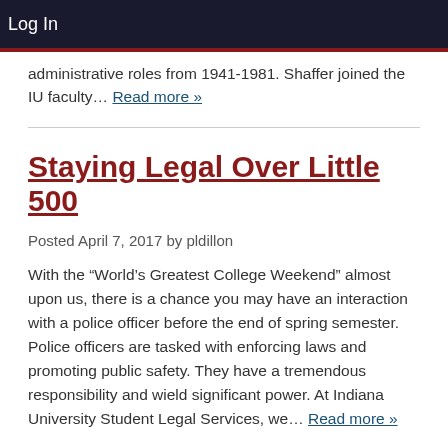Log In
administrative roles from 1941-1981. Shaffer joined the IU faculty… Read more »
Staying Legal Over Little 500
Posted April 7, 2017 by pldillon
With the “World’s Greatest College Weekend” almost upon us, there is a chance you may have an interaction with a police officer before the end of spring semester. Police officers are tasked with enforcing laws and promoting public safety. They have a tremendous responsibility and wield significant power. At Indiana University Student Legal Services, we… Read more »